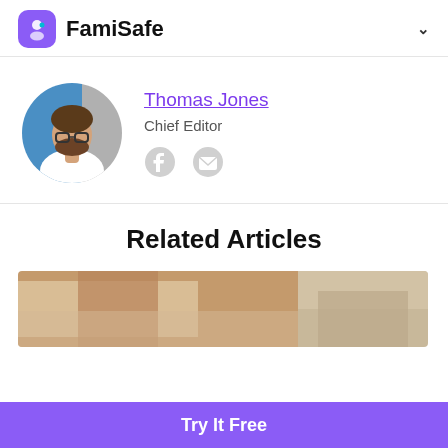FamiSafe
Thomas Jones
Chief Editor
[Figure (photo): Circular portrait photo of a bearded man wearing glasses and a white t-shirt, against a blue and grey background]
Related Articles
[Figure (photo): Partial image of related articles showing two photos side by side]
Try It Free